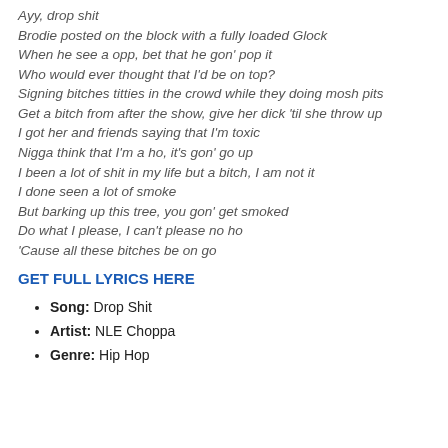Ayy, drop shit
Brodie posted on the block with a fully loaded Glock
When he see a opp, bet that he gon' pop it
Who would ever thought that I'd be on top?
Signing bitches titties in the crowd while they doing mosh pits
Get a bitch from after the show, give her dick 'til she throw up
I got her and friends saying that I'm toxic
Nigga think that I'm a ho, it's gon' go up
I been a lot of shit in my life but a bitch, I am not it
I done seen a lot of smoke
But barking up this tree, you gon' get smoked
Do what I please, I can't please no ho
'Cause all these bitches be on go
GET FULL LYRICS HERE
Song: Drop Shit
Artist: NLE Choppa
Genre: Hip Hop